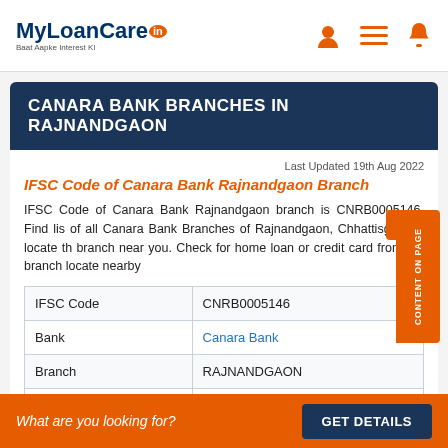MyLoanCare.in — Baat Aapke Interest Ki
CANARA BANK BRANCHES IN RAJNANDGAON
Last Updated 19th Aug 2022
IFSC Code of Canara Bank Rajnandgaon Branch
IFSC Code of Canara Bank Rajnandgaon branch is CNRB0005146. Find list of all Canara Bank Branches of Rajnandgaon, Chhattisgarh to locate the branch near you. Check for home loan or credit card from the branch located nearby
|  |  |
| --- | --- |
| IFSC Code | CNRB0005146 |
| Bank | Canara Bank |
| Branch | RAJNANDGAON |
| City | Rajnandgaon |
What are you looking for? GET DETAILS